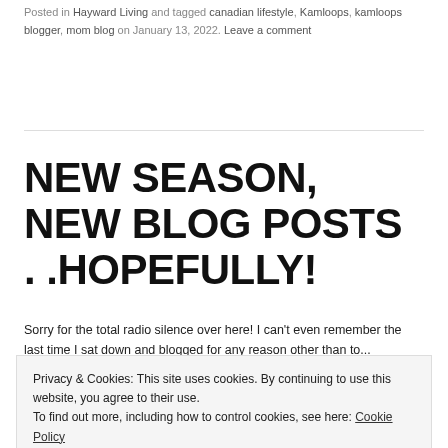Posted in Hayward Living and tagged canadian lifestyle, Kamloops, kamloops blogger, mom blog on January 13, 2022. Leave a comment
NEW SEASON, NEW BLOG POSTS . .HOPEFULLY!
Sorry for the total radio silence over here! I can't even remember the last time I sat down and blogged for any reason other than to...
Privacy & Cookies: This site uses cookies. By continuing to use this website, you agree to their use. To find out more, including how to control cookies, see here: Cookie Policy
for interior BC. Well actually a lot more areas than that but those are